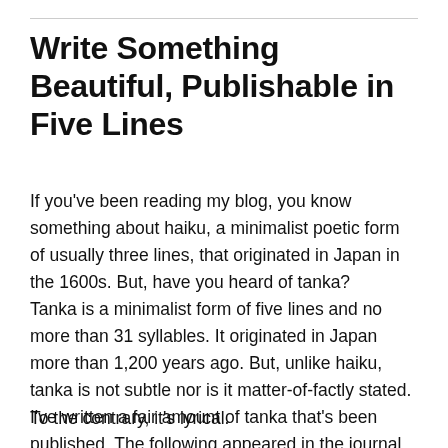Write Something Beautiful, Publishable in Five Lines
If you've been reading my blog, you know something about haiku, a minimalist poetic form of usually three lines, that originated in Japan in the 1600s. But, have you heard of tanka?
Tanka is a minimalist form of five lines and no more than 31 syllables. It originated in Japan more than 1,200 years ago. But, unlike haiku, tanka is not subtle nor is it matter-of-factly stated. To the contrary, it's lyrical.
I've written a fair amount of tanka that's been published. The following appeared in the journal, “Modern English Tanka.”